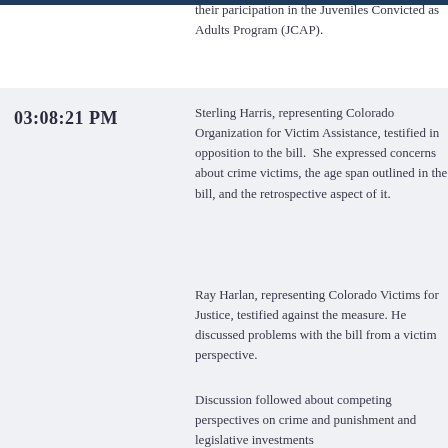their paricipation in the Juveniles Convicted as Adults Program (JCAP).
03:08:21 PM
Sterling Harris, representing Colorado Organization for Victim Assistance, testified in opposition to the bill. She expressed concerns about crime victims, the age span outlined in the bill, and the retrospective aspect of it.
Ray Harlan, representing Colorado Victims for Justice, testified against the measure. He discussed problems with the bill from a victim perspective.
Discussion followed about competing perspectives on crime and punishment and legislative investments